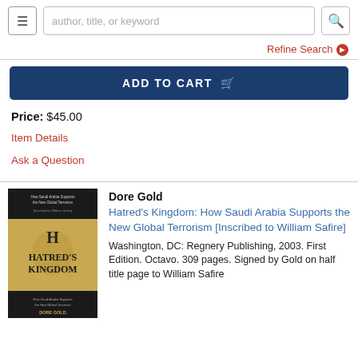author, title, or keyword [search bar]
Refine Search ❯
ADD TO CART 🛒
Price: $45.00
Item Details
Ask a Question
[Figure (photo): Book cover of Hatred's Kingdom by Dore Gold]
Dore Gold
Hatred's Kingdom: How Saudi Arabia Supports the New Global Terrorism [Inscribed to William Safire]
Washington, DC: Regnery Publishing, 2003. First Edition. Octavo. 309 pages. Signed by Gold on half title page to William Safire